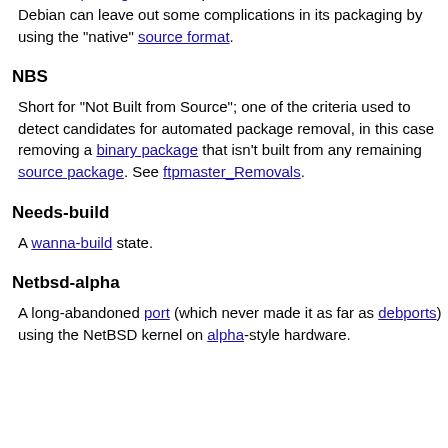A source package with no upstream and no use outside of Debian can leave out some complications in its packaging by using the "native" source format.
NBS
Short for "Not Built from Source"; one of the criteria used to detect candidates for automated package removal, in this case removing a binary package that isn't built from any remaining source package. See ftpmaster_Removals.
Needs-build
A wanna-build state.
Netbsd-alpha
A long-abandoned port (which never made it as far as debports) using the NetBSD kernel on alpha-style hardware.